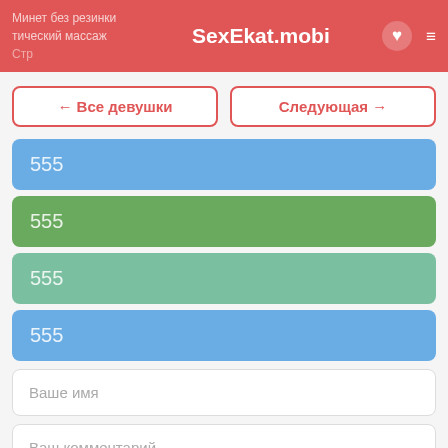SexEkat.mobi
← Все девушки
Следующая →
555
555
555
555
Ваше имя
Ваш комментарий